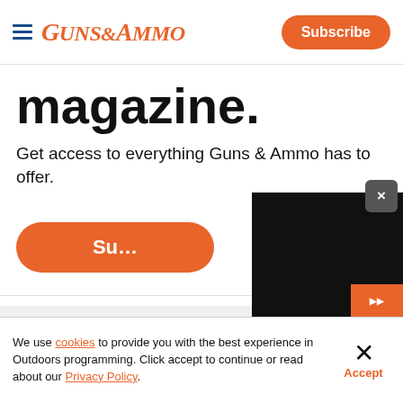Guns & Ammo — Subscribe
magazine.
Get access to everything Guns & Ammo has to offer.
Su[bscribe]
[Figure (screenshot): Dark video player overlay on right side of page]
Join the List and Never
We use cookies to provide you with the best experience in Outdoors programming. Click accept to continue or read about our Privacy Policy.